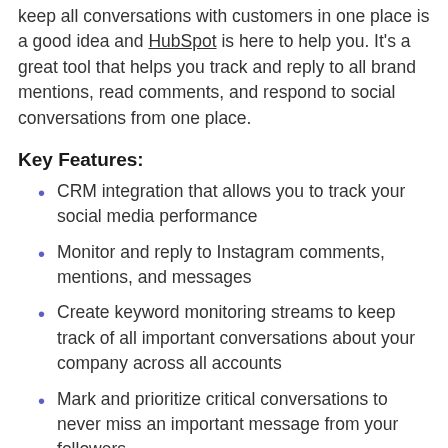keep all conversations with customers in one place is a good idea and HubSpot is here to help you. It's a great tool that helps you track and reply to all brand mentions, read comments, and respond to social conversations from one place.
Key Features:
CRM integration that allows you to track your social media performance
Monitor and reply to Instagram comments, mentions, and messages
Create keyword monitoring streams to keep track of all important conversations about your company across all accounts
Mark and prioritize critical conversations to never miss an important message from your followers